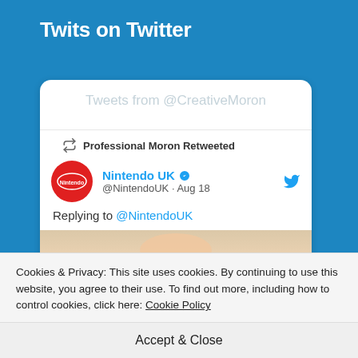Twits on Twitter
[Figure (screenshot): Screenshot of a Twitter embedded timeline widget showing 'Tweets from @CreativeMoron' header, a retweet by 'Professional Moron Retweeted' of Nintendo UK (@NintendoUK) post from Aug 18, replying to @NintendoUK, with a partial image visible below.]
Cookies & Privacy: This site uses cookies. By continuing to use this website, you agree to their use. To find out more, including how to control cookies, click here: Cookie Policy
Accept & Close